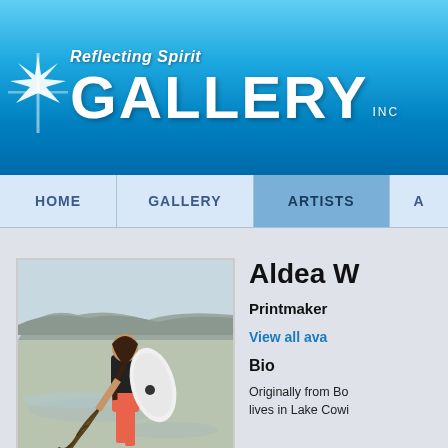Reflecting Spirit GALLERY INC
HOME | GALLERY | ARTISTS | A
[Figure (photo): Woman standing on a beach holding a bodyboard and seaweed, wearing orange shorts and a black top, with mountains and ocean in the background]
Aldea W
Printmaker
View all ava
Bio
Originally from Bo... lives in Lake Cowi...